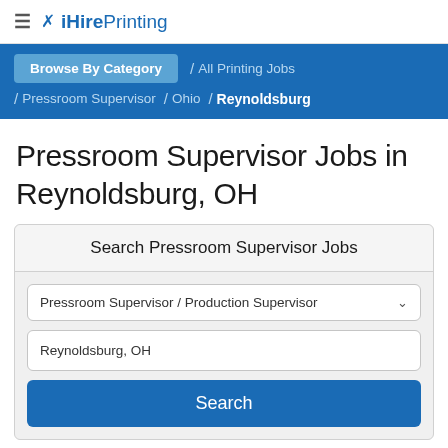≡ ✕ iHirePrinting
Browse By Category / All Printing Jobs / Pressroom Supervisor / Ohio / Reynoldsburg
Pressroom Supervisor Jobs in Reynoldsburg, OH
Search Pressroom Supervisor Jobs
Pressroom Supervisor / Production Supervisor
Reynoldsburg, OH
Search